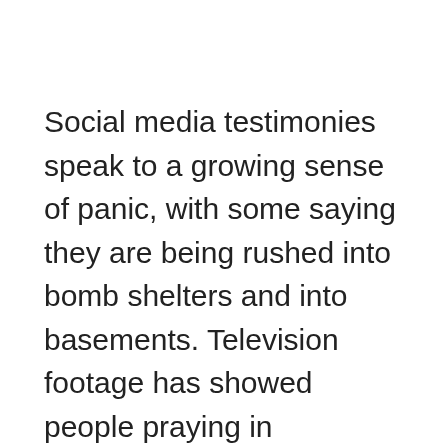Social media testimonies speak to a growing sense of panic, with some saying they are being rushed into bomb shelters and into basements. Television footage has showed people praying in